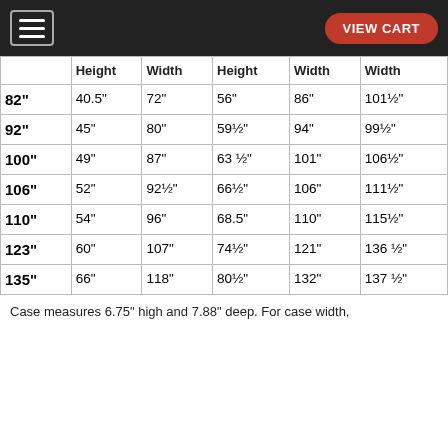VIEW CART
|  | Height | Width | Height | Width | Width |
| --- | --- | --- | --- | --- | --- |
| 82" | 40.5" | 72" | 56" | 86" | 101½" |
| 92" | 45" | 80" | 59½" | 94" | 99½" |
| 100" | 49" | 87" | 63 ½" | 101" | 106½" |
| 106" | 52" | 92½" | 66½" | 106" | 111½" |
| 110" | 54" | 96" | 68.5" | 110" | 115½" |
| 123" | 60" | 107" | 74½" | 121" | 136 ½" |
| 135" | 66" | 118" | 80½" | 132" | 137 ½" |
Case measures 6.75" high and 7.88" deep. For case width,